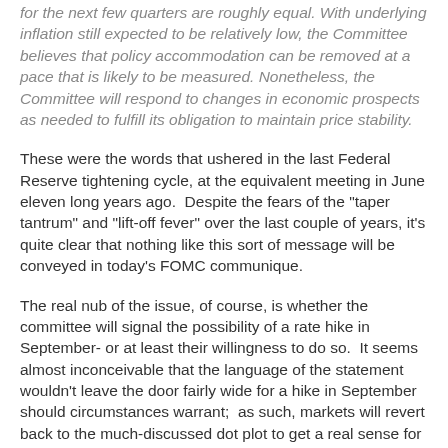for the next few quarters are roughly equal. With underlying inflation still expected to be relatively low, the Committee believes that policy accommodation can be removed at a pace that is likely to be measured. Nonetheless, the Committee will respond to changes in economic prospects as needed to fulfill its obligation to maintain price stability.
These were the words that ushered in the last Federal Reserve tightening cycle, at the equivalent meeting in June eleven long years ago.  Despite the fears of the "taper tantrum" and "lift-off fever" over the last couple of years, it's quite clear that nothing like this sort of message will be conveyed in today's FOMC communique.
The real nub of the issue, of course, is whether the committee will signal the possibility of a rate hike in September- or at least their willingness to do so.  It seems almost inconceivable that the language of the statement wouldn't leave the door fairly wide for a hike in September should circumstances warrant;  as such, markets will revert back to the much-discussed dot plot to get a real sense for how likely the committee thinks such a move is.